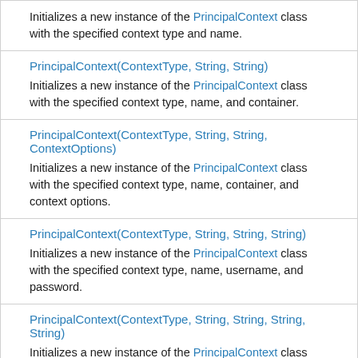Initializes a new instance of the PrincipalContext class with the specified context type and name.
PrincipalContext(ContextType, String, String)
Initializes a new instance of the PrincipalContext class with the specified context type, name, and container.
PrincipalContext(ContextType, String, String, ContextOptions)
Initializes a new instance of the PrincipalContext class with the specified context type, name, container, and context options.
PrincipalContext(ContextType, String, String, String)
Initializes a new instance of the PrincipalContext class with the specified context type, name, username, and password.
PrincipalContext(ContextType, String, String, String, String)
Initializes a new instance of the PrincipalContext class with the specified context type, name, container, username, and password.